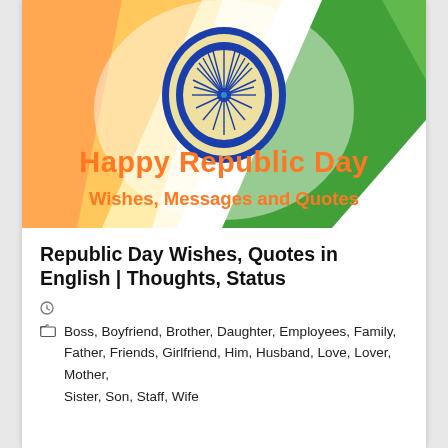[Figure (illustration): Indian Republic Day banner with saffron, white, and green diagonal streaks on white background, Ashoka Chakra (wheel) in blue and gold at center top, text 'Happy Republic Day' in large orange bold font, subtitle 'Wishes, Messages and Quotes' in orange bold font below.]
Republic Day Wishes, Quotes in English | Thoughts, Status
Boss, Boyfriend, Brother, Daughter, Employees, Family, Father, Friends, Girlfriend, Him, Husband, Love, Lover, Mother, Sister, Son, Staff, Wife